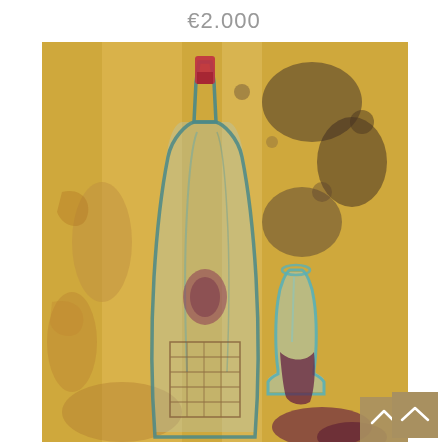€2.000
[Figure (illustration): Abstract painting of a wine bottle and glass on a golden/ochre textured background. The bottle is rendered in teal/blue outlines with a red cap, and there is a glass to the right with dark wine at the bottom. The background has expressive brushstrokes in ochre, brown, and dark gray/black.]